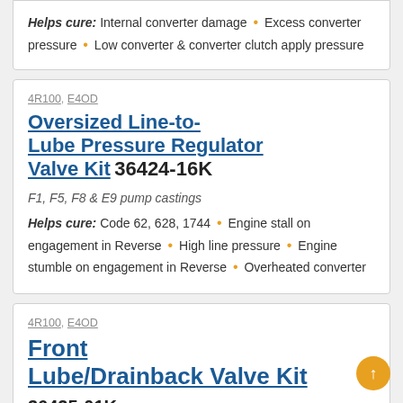Helps cure: Internal converter damage • Excess converter pressure • Low converter & converter clutch apply pressure
4R100, E4OD
Oversized Line-to-Lube Pressure Regulator Valve Kit 36424-16K
F1, F5, F8 & E9 pump castings
Helps cure: Code 62, 628, 1744 • Engine stall on engagement in Reverse • High line pressure • Engine stumble on engagement in Reverse • Overheated converter
4R100, E4OD
Front Lube/Drainback Valve Kit
36425-01K